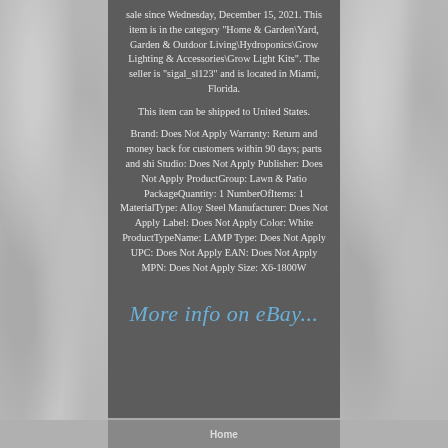sale since Wednesday, December 15, 2021. This item is in the category "Home & Garden\Yard, Garden & Outdoor Living\Hydroponics\Grow Lighting & Accessories\Grow Light Kits". The seller is "sigal_sl123" and is located in Miami, Florida.
This item can be shipped to United States.
Brand: Does Not Apply Warranty: Return and money back for customers within 90 days; parts and shi Studio: Does Not Apply Publisher: Does Not Apply ProductGroup: Lawn & Patio PackageQuantity: 1 NumberOfItems: 1 MaterialType: Alloy Steel Manufacturer: Does Not Apply Label: Does Not Apply Color: White ProductTypeName: LAMP Type: Does Not Apply UPC: Does Not Apply EAN: Does Not Apply MPN: Does Not Apply Size: X6-1800W
More info on eBay...
Home